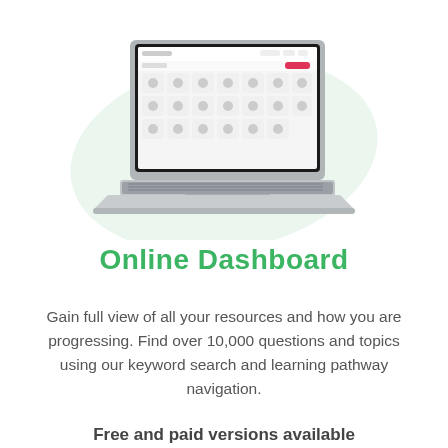[Figure (screenshot): A laptop computer showing an online dashboard interface with a grid of icons and a pink/red button, displayed on screen. The laptop sits on a light green blob-shaped background.]
Online Dashboard
Gain full view of all your resources and how you are progressing. Find over 10,000 questions and topics using our keyword search and learning pathway navigation.
Free and paid versions available